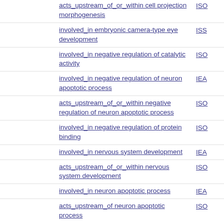acts_upstream_of_or_within cell projection morphogenesis	ISO
involved_in embryonic camera-type eye development	ISS
involved_in negative regulation of catalytic activity	ISO
involved_in negative regulation of neuron apoptotic process	IEA
acts_upstream_of_or_within negative regulation of neuron apoptotic process	ISO
involved_in negative regulation of protein binding	ISO
involved_in nervous system development	IEA
acts_upstream_of_or_within nervous system development	ISO
involved_in neuron apoptotic process	IEA
acts_upstream_of neuron apoptotic process	ISO